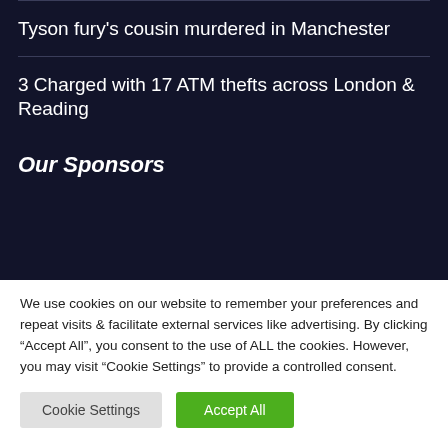Tyson fury's cousin murdered in Manchester
3 Charged with 17 ATM thefts across London & Reading
Our Sponsors
We use cookies on our website to remember your preferences and repeat visits & facilitate external services like advertising. By clicking “Accept All”, you consent to the use of ALL the cookies. However, you may visit “Cookie Settings” to provide a controlled consent.